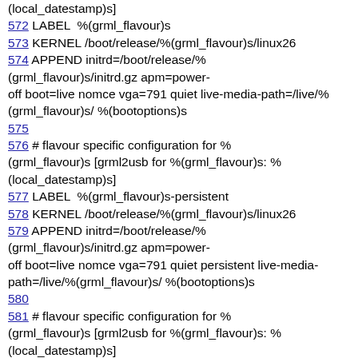(local_datestamp)s]
572 LABEL  %(grml_flavour)s
573 KERNEL /boot/release/%(grml_flavour)s/linux26
574 APPEND initrd=/boot/release/%(grml_flavour)s/initrd.gz apm=power-off boot=live nomce vga=791 quiet live-media-path=/live/%(grml_flavour)s/ %(bootoptions)s
575
576 # flavour specific configuration for %(grml_flavour)s [grml2usb for %(grml_flavour)s: %(local_datestamp)s]
577 LABEL  %(grml_flavour)s-persistent
578 KERNEL /boot/release/%(grml_flavour)s/linux26
579 APPEND initrd=/boot/release/%(grml_flavour)s/initrd.gz apm=power-off boot=live nomce vga=791 quiet persistent live-media-path=/live/%(grml_flavour)s/ %(bootoptions)s
580
581 # flavour specific configuration for %(grml_flavour)s [grml2usb for %(grml_flavour)s: %(local_datestamp)s]
582 LABEL  %(grml_flavour)s2ram
583 KERNEL /boot/release/%(grml_flavour)s/linux26
584 APPEND initrd=/boot/release/%(grml_flavour)s/initrd.gz apm=power-